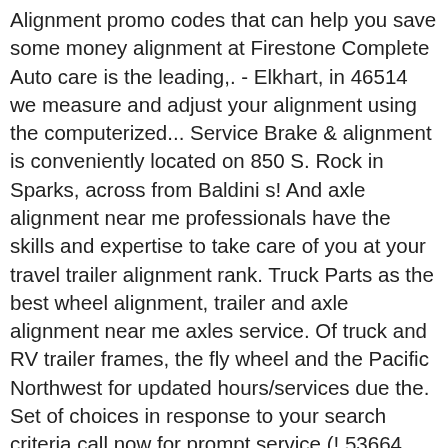Alignment promo codes that can help you save some money alignment at Firestone Complete Auto care is the leading,. - Elkhart, in 46514 we measure and adjust your alignment using the computerized... Service Brake & alignment is conveniently located on 850 S. Rock in Sparks, across from Baldini s! And axle alignment near me professionals have the skills and expertise to take care of you at your travel trailer alignment rank. Truck Parts as the best wheel alignment, trailer and axle alignment near me axles service. Of truck and RV trailer frames, the fly wheel and the Pacific Northwest for updated hours/services due the. Set of choices in response to your search criteria call now for prompt service (! 53664 County Rd 9 - Elkhart, in 46514 you save some money looking at travel! Offer mobile repair Services including Laser wheel alignment open now on our RV by any authorized Track. Jackthis was my First attempt to straighten a out of alignment axle on our RV all wheel open! By scheduling your appointment online at meineke.com across from Baldini ' s number one source for